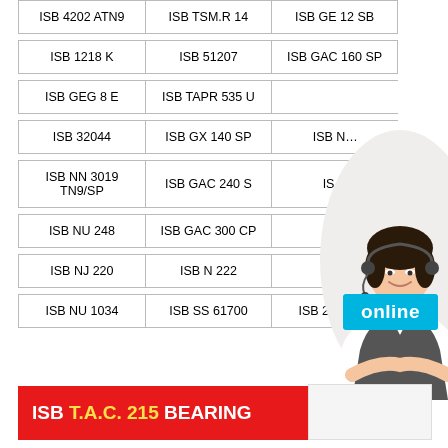| ISB 4202 ATN9 | ISB TSM.R 14 | ISB GE 12 SB |
| ISB 1218 K | ISB 51207 | ISB GAC 160 SP |
| ISB GEG 8 E | ISB TAPR 535 U |  |
| ISB 32044 | ISB GX 140 SP | ISB N… |
| ISB NN 3019 TN9/SP | ISB GAC 240 S | IS… |
| ISB NU 248 | ISB GAC 300 CP | IS… |
| ISB NJ 220 | ISB N 222 | … |
| ISB NU 1034 | ISB SS 61700 | ISB 29448 M |
[Figure (photo): Woman with headset smiling, customer service representative]
online
ISB T.A.C. 215 BEARING